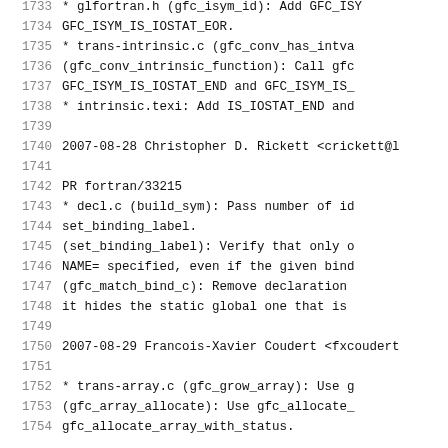1733   * glfortran.h (gfc_isym_id): Add GFC_ISY
1734     GFC_ISYM_IS_IOSTAT_EOR.
1735     * trans-intrinsic.c (gfc_conv_has_intva
1736     (gfc_conv_intrinsic_function): Call gfc
1737     GFC_ISYM_IS_IOSTAT_END and GFC_ISYM_IS_
1738     * intrinsic.texi: Add IS_IOSTAT_END and
1739
1740  2007-08-28  Christopher D. Rickett  <crickett@l
1741
1742        PR fortran/33215
1743        * decl.c (build_sym): Pass number of id
1744        set_binding_label.
1745        (set_binding_label): Verify that only o
1746        NAME= specified, even if the given bind
1747        (gfc_match_bind_c): Remove declaration
1748        it hides the static global one that is
1749
1750  2007-08-29  Francois-Xavier Coudert  <fxcoudert
1751
1752        * trans-array.c (gfc_grow_array): Use g
1753        (gfc_array_allocate): Use gfc_allocate_
1754        gfc_allocate_array_with_status.